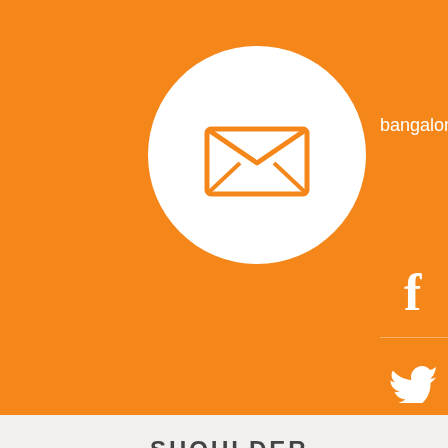[Figure (illustration): Orange banner background with white circle containing an open envelope/email icon in orange]
bangaloreshoulderinstitute@gmail.com
[Figure (illustration): Social media icons sidebar on right: Facebook, Twitter, LinkedIn, YouTube, Pinterest, Google+]
SHOULDER
AC Joint Separation
Calcific Shoulder Tendonitis
Rotator Cuff Tear
Frozen Shoulder
Superior and Anterior-Superior